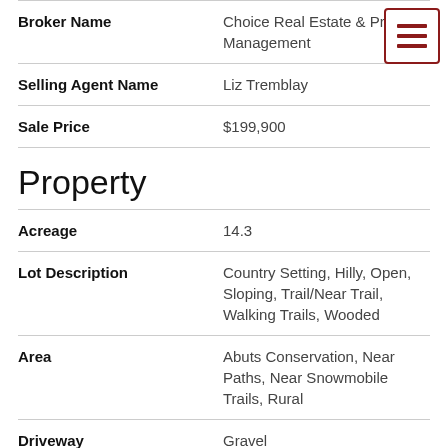| Field | Value |
| --- | --- |
| Broker Name | Choice Real Estate & Property Management |
| Selling Agent Name | Liz Tremblay |
| Sale Price | $199,900 |
Property
| Field | Value |
| --- | --- |
| Acreage | 14.3 |
| Lot Description | Country Setting, Hilly, Open, Sloping, Trail/Near Trail, Walking Trails, Wooded |
| Area | Abuts Conservation, Near Paths, Near Snowmobile Trails, Rural |
| Driveway | Gravel |
| Roads | Dead End, Gravel, Public |